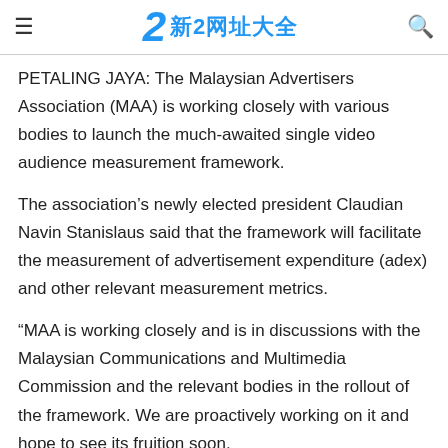新2网址大全
PETALING JAYA: The Malaysian Advertisers Association (MAA) is working closely with various bodies to launch the much-awaited single video audience measurement framework.
The association's newly elected president Claudian Navin Stanislaus said that the framework will facilitate the measurement of advertisement expenditure (adex) and other relevant measurement metrics.
“MAA is working closely and is in discussions with the Malaysian Communications and Multimedia Commission and the relevant bodies in the rollout of the framework. We are proactively working on it and hope to see its fruition soon.
“On the outdoor advertising front, MAA is at the same time in discussions with the relevant associations to establish a